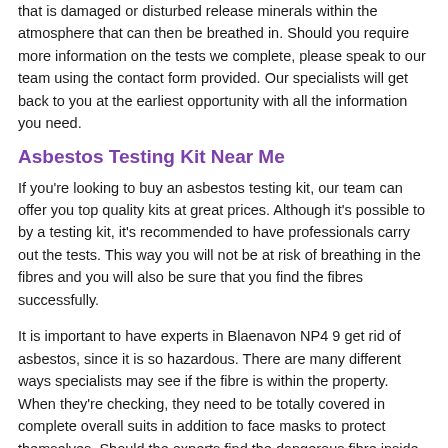that is damaged or disturbed release minerals within the atmosphere that can then be breathed in. Should you require more information on the tests we complete, please speak to our team using the contact form provided. Our specialists will get back to you at the earliest opportunity with all the information you need.
Asbestos Testing Kit Near Me
If you're looking to buy an asbestos testing kit, our team can offer you top quality kits at great prices. Although it's possible to by a testing kit, it's recommended to have professionals carry out the tests. This way you will not be at risk of breathing in the fibres and you will also be sure that you find the fibres successfully.
It is important to have experts in Blaenavon NP4 9 get rid of asbestos, since it is so hazardous. There are many different ways specialists may see if the fibre is within the property. When they're checking, they need to be totally covered in complete overall suits in addition to face masks to protect themselves. Should the experts find the dangerous fibre inside the walls, they will then eliminate it. This is not a job which you're able to train yourself
http://www.asbestos-removal-